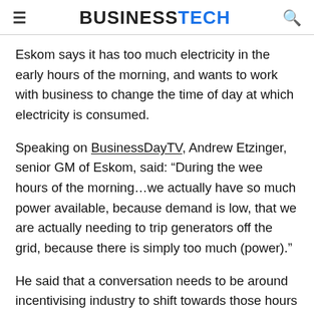BUSINESSTECH
Eskom says it has too much electricity in the early hours of the morning, and wants to work with business to change the time of day at which electricity is consumed.
Speaking on BusinessDayTV, Andrew Etzinger, senior GM of Eskom, said: “During the wee hours of the morning…we actually have so much power available, because demand is low, that we are actually needing to trip generators off the grid, because there is simply too much (power).”
He said that a conversation needs to be around incentivising industry to shift towards those hours of